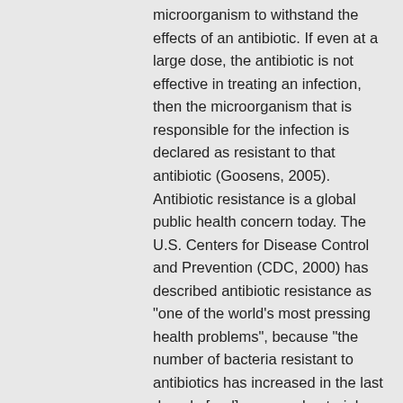microorganism to withstand the effects of an antibiotic. If even at a large dose, the antibiotic is not effective in treating an infection, then the microorganism that is responsible for the infection is declared as resistant to that antibiotic (Goosens, 2005). Antibiotic resistance is a global public health concern today. The U.S. Centers for Disease Control and Prevention (CDC, 2000) has described antibiotic resistance as "one of the world's most pressing health problems", because "the number of bacteria resistant to antibiotics has increased in the last decade [and] … many bacterial infections are becoming resistant to the most commonly prescribed antibiotic treatments." The World Health Organization (WHO) has identified antibiotic resistance as "one of the three greatest threats to human health." Its primary cause is long-term over-exposure to antibiotics through their use as medicines in humans, as well as in animals, horticulture and for food preservation. The types of antibiotics used in animals are frequently the same as, or closely related to, those used in humans. Factors influencing the development of resistance